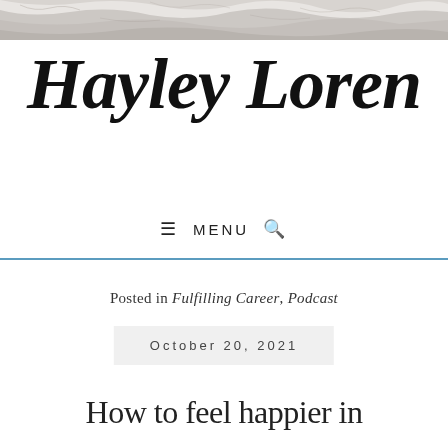[Figure (photo): Marble or rocky texture strip at top of page, grayish-white natural stone pattern]
Hayley Loren
≡ MENU 🔍
Posted in Fulfilling Career, Podcast
October 20, 2021
How to feel happier in